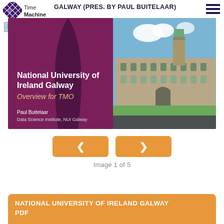GALWAY (PRES. BY PAUL BUITELAAR)
[Figure (screenshot): Slide screenshot showing 'National University of Ireland Galway – Overview for TMO' presentation slide by Paul Buitelaar, Data Science Institute, NUI Galway. Left side has purple/maroon background with white and orange text. Right side shows a photo of a historic stone university building with blue sky and green lawn. Time Machine logo and NUI Galway logo visible at top.]
Image 1 of 5
NATIONAL UNIVERSITY OF IRELAND GALWAY PDF